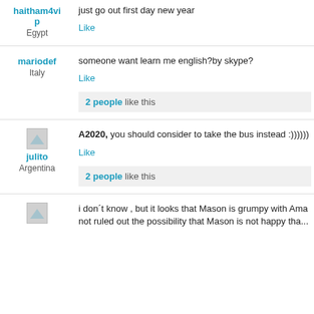just go out first day new year
haitham4vip
Egypt
Like
mariodef
Italy
someone want learn me english?by skype?
Like
2 people like this
julito
Argentina
A2020,  you should consider to take the bus instead :))))))
Like
2 people like this
i don´t know , but it looks that  Mason is grumpy  with Aman... not ruled out the possibility that  Mason  is not happy  tha...